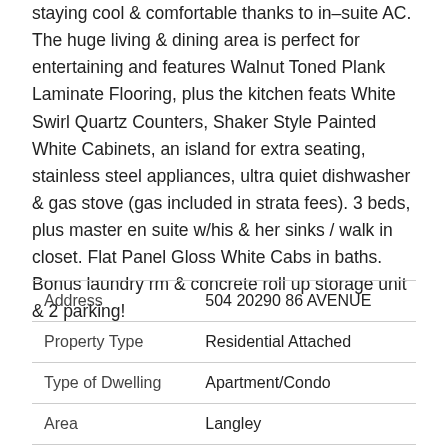staying cool & comfortable thanks to in-suite AC. The huge living & dining area is perfect for entertaining and features Walnut Toned Plank Laminate Flooring, plus the kitchen feats White Swirl Quartz Counters, Shaker Style Painted White Cabinets, an island for extra seating, stainless steel appliances, ultra quiet dishwasher & gas stove (gas included in strata fees). 3 beds, plus master en suite w/his & her sinks / walk in closet. Flat Panel Gloss White Cabs in baths. Bonus laundry rm & concrete roll up storage unit & 2 parking!
| Address | 504 20290 86 AVENUE |
| Property Type | Residential Attached |
| Type of Dwelling | Apartment/Condo |
| Area | Langley |